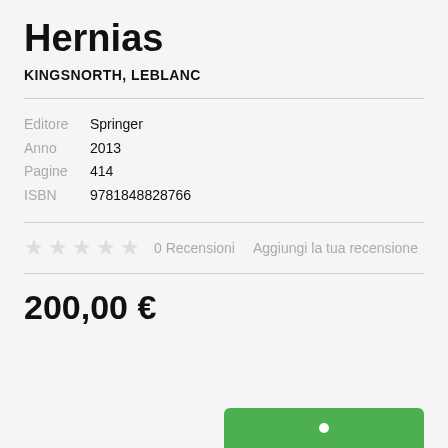Hernias
KINGSNORTH, LEBLANC
Editore  Springer
Anno  2013
Pagine  414
ISBN  9781848828766
0 Recensioni   Aggiungi la tua recensione
200,00 €